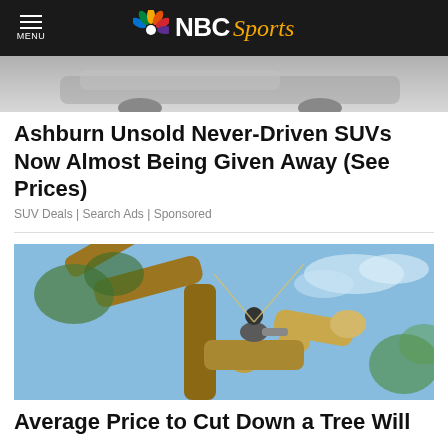NBC Sports
[Figure (photo): Cropped top portion of a car/SUV advertisement image]
Ashburn Unsold Never-Driven SUVs Now Almost Being Given Away (See Prices)
SUV Deals | Search Ads | Sponsored
[Figure (photo): An arborist wearing a helmet and safety harness sitting in a large tree with cut branches, against a blue sky]
Average Price to Cut Down a Tree Will Surprise You